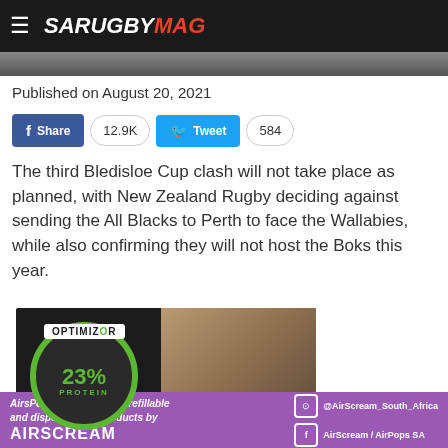SA RUGBY MAG
[Figure (photo): Partial photo strip at top of page, people visible]
Published on August 20, 2021
[Figure (infographic): Facebook Share button (12.9K shares) and Twitter Tweet button (584 tweets)]
The third Bledisloe Cup clash will not take place as planned, with New Zealand Rugby deciding against sending the All Blacks to Perth to face the Wallabies, while also confirming they will not host the Boks this year.
[Figure (photo): Optimizor dog food advertisement showing 23% protein claim with a man and dog, MORE PROTEIN ACTIVE text]
[Figure (infographic): AirScream banner ad: AirsPops prefilled ePod, refillable and disposal Vape products by AIRSCREAM, with Instagram @AirScream_South_Africa and Facebook AirScream / AirPops SA]